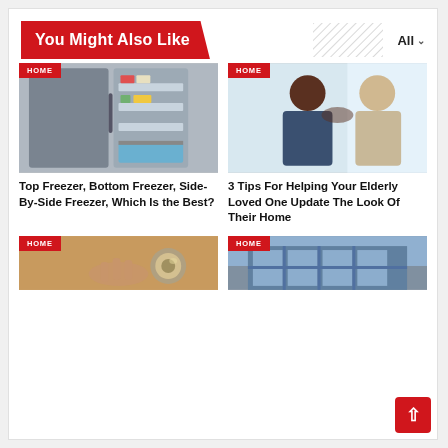You Might Also Like
[Figure (photo): Open refrigerator/freezer showing food inside]
HOME
Top Freezer, Bottom Freezer, Side-By-Side Freezer, Which Is the Best?
[Figure (photo): Young woman and elderly woman looking at each other]
HOME
3 Tips For Helping Your Elderly Loved One Update The Look Of Their Home
[Figure (photo): Hand on door knob]
HOME
[Figure (photo): Glass building exterior]
HOME